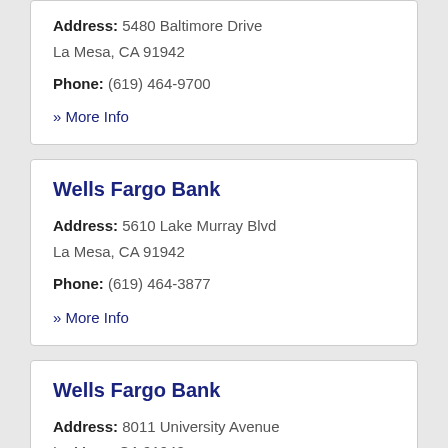Address: 5480 Baltimore Drive La Mesa, CA 91942
Phone: (619) 464-9700
» More Info
Wells Fargo Bank
Address: 5610 Lake Murray Blvd La Mesa, CA 91942
Phone: (619) 464-3877
» More Info
Wells Fargo Bank
Address: 8011 University Avenue La Mesa, CA 91942